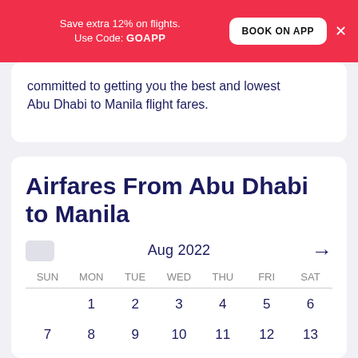Save extra 12% on flights. Use Code: GOAPP
committed to getting you the best and lowest Abu Dhabi to Manila flight fares.
Airfares From Abu Dhabi to Manila
Aug 2022
| SUN | MON | TUE | WED | THU | FRI | SAT |
| --- | --- | --- | --- | --- | --- | --- |
|  | 1 | 2 | 3 | 4 | 5 | 6 |
| 7 | 8 | 9 | 10 | 11 | 12 | 13 |
| 14 | 15 | 16 | 17 | 18 | 19 | 20 |